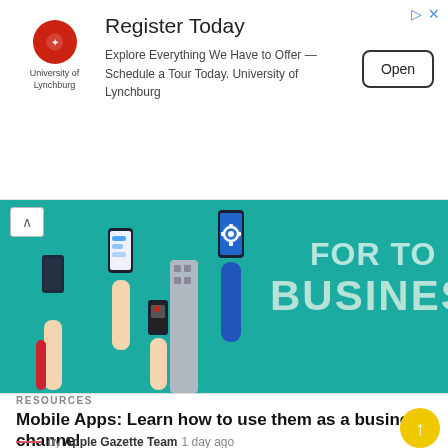[Figure (infographic): University of Lynchburg advertisement banner with logo, 'Register Today' heading, descriptive text, and an Open button]
[Figure (illustration): Hero banner image with teal background showing multiple hands holding smartphones displaying various mobile apps, with large text reading 'FOR TO BUSINESS' on the right side]
RESOURCES
Mobile Apps: Learn how to use them as a business channel
by Apple Gazette Team 1 day ago